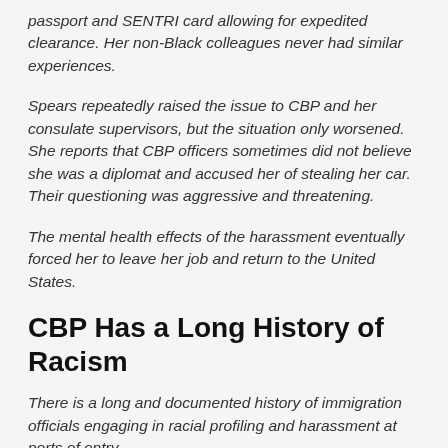passport and SENTRI card allowing for expedited clearance. Her non-Black colleagues never had similar experiences.
Spears repeatedly raised the issue to CBP and her consulate supervisors, but the situation only worsened. She reports that CBP officers sometimes did not believe she was a diplomat and accused her of stealing her car. Their questioning was aggressive and threatening.
The mental health effects of the harassment eventually forced her to leave her job and return to the United States.
CBP Has a Long History of Racism
There is a long and documented history of immigration officials engaging in racial profiling and harassment at ports of entry.